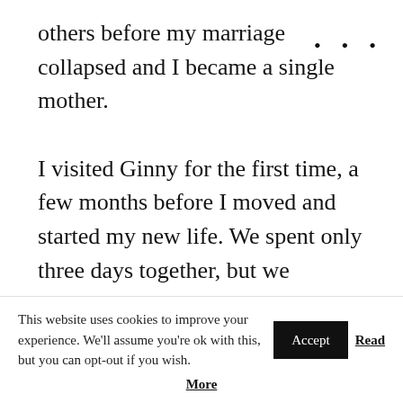others before my marriage collapsed and I became a single mother.
I visited Ginny for the first time, a few months before I moved and started my new life. We spent only three days together, but we laughed, told stories, and only cried a little. Listening to how she coped with life after Robert's death and moved forward, rather than giving up,
This website uses cookies to improve your experience. We'll assume you're ok with this, but you can opt-out if you wish. Accept Read More